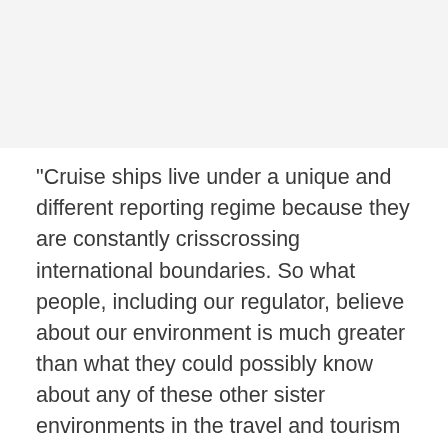[Figure (other): Gray placeholder image area at top of page]
"Cruise ships live under a unique and different reporting regime because they are constantly crisscrossing international boundaries. So what people, including our regulator, believe about our environment is much greater than what they could possibly know about any of these other sister environments in the travel and tourism industry."